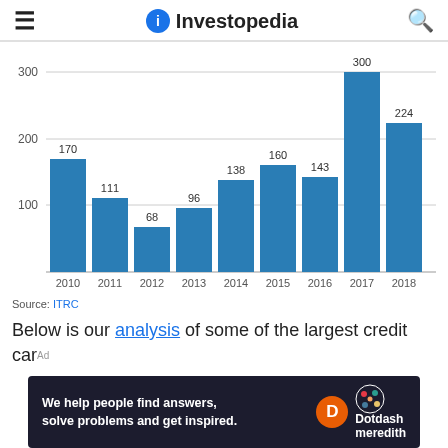Investopedia
[Figure (bar-chart): Credit Card Data Breaches by Year]
Source: ITRC
Below is our analysis of some of the largest credit card
[Figure (infographic): Dotdash Meredith advertisement banner: 'We help people find answers, solve problems and get inspired.']